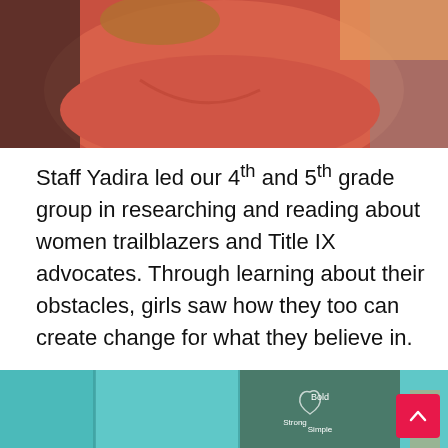[Figure (photo): A child wearing a coral/red hoodie, bent over or leaning forward, photographed from above on what appears to be a colorful floor or rug.]
Staff Yadira led our 4th and 5th grade group in researching and reading about women trailblazers and Title IX advocates. Through learning about their obstacles, girls saw how they too can create change for what they believe in.
[Figure (photo): A teal/aqua colored wall or board with hands forming a heart shape, with writing visible inside the heart. Words like 'Bold', 'Strong', 'Simple' visible.]